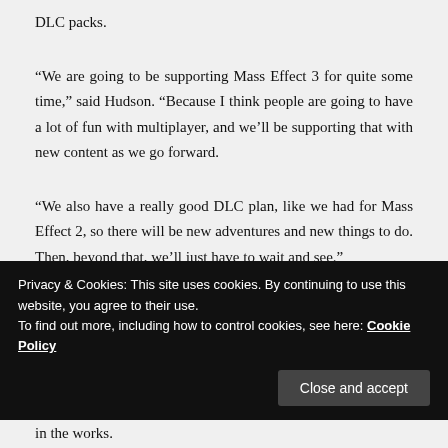DLC packs.
“We are going to be supporting Mass Effect 3 for quite some time,” said Hudson. “Because I think people are going to have a lot of fun with multiplayer, and we’ll be supporting that with new content as we go forward.
“We also have a really good DLC plan, like we had for Mass Effect 2, so there will be new adventures and new things to do. Then, beyond that, we’ll just have to wait and see.”
Advertisements
[Figure (illustration): Day One journaling app advertisement banner. Blue background with illustrated icons (notebook, person with headphones, notepad) and text: DAY ONE - The only journaling app you'll ever need.]
Privacy & Cookies: This site uses cookies. By continuing to use this website, you agree to their use.
To find out more, including how to control cookies, see here: Cookie Policy
in the works.